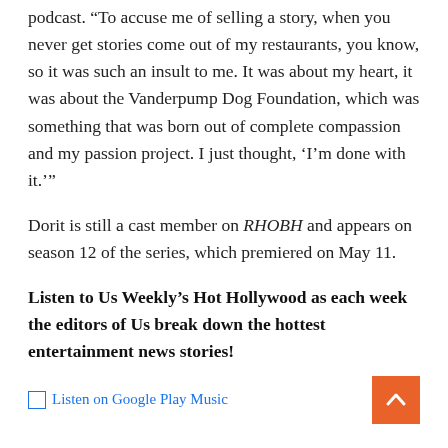podcast. “To accuse me of selling a story, when you never get stories come out of my restaurants, you know, so it was such an insult to me. It was about my heart, it was about the Vanderpump Dog Foundation, which was something that was born out of complete compassion and my passion project. I just thought, ‘I’m done with it.’”
Dorit is still a cast member on RHOBH and appears on season 12 of the series, which premiered on May 11.
Listen to Us Weekly’s Hot Hollywood as each week the editors of Us break down the hottest entertainment news stories!
[Figure (other): Listen on Google Play Music link with small image icon and back-to-top orange button with arrow]